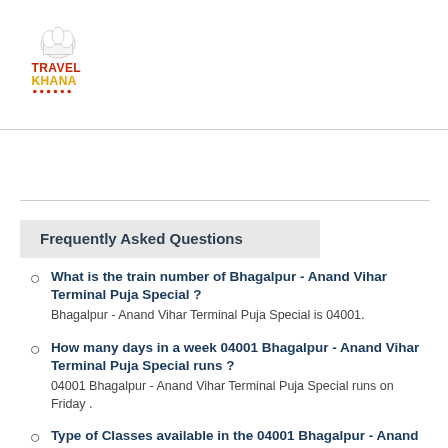TravelKhana
Frequently Asked Questions
What is the train number of Bhagalpur - Anand Vihar Terminal Puja Special ? Bhagalpur - Anand Vihar Terminal Puja Special is 04001.
How many days in a week 04001 Bhagalpur - Anand Vihar Terminal Puja Special runs ? 04001 Bhagalpur - Anand Vihar Terminal Puja Special runs on Friday .
Type of Classes available in the 04001 Bhagalpur - Anand Vihar Terminal Puja Special ? Type of Classes available in the Bhagalpur - Anand Vihar